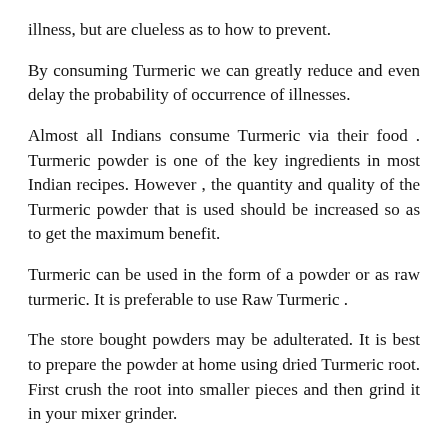illness, but are clueless as to how to prevent.
By consuming Turmeric we can greatly reduce and even delay the probability of occurrence of illnesses.
Almost all Indians consume Turmeric via their food . Turmeric powder is one of the key ingredients in most Indian recipes. However , the quantity and quality of the Turmeric powder that is used should be increased so as to get the maximum benefit.
Turmeric can be used in the form of a powder or as raw turmeric. It is preferable to use Raw Turmeric .
The store bought powders may be adulterated. It is best to prepare the powder at home using dried Turmeric root. First crush the root into smaller pieces and then grind it in your mixer grinder.